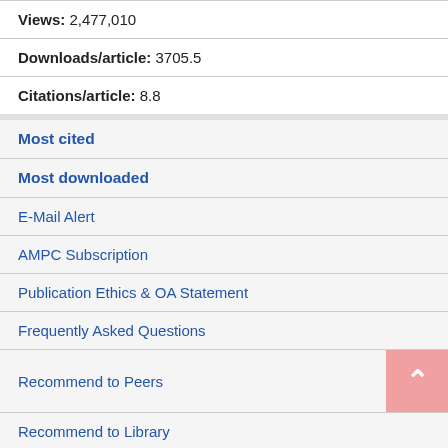Views: 2,477,010
Downloads/article: 3705.5
Citations/article: 8.8
Most cited
Most downloaded
E-Mail Alert
AMPC Subscription
Publication Ethics & OA Statement
Frequently Asked Questions
Recommend to Peers
Recommend to Library
Contact us